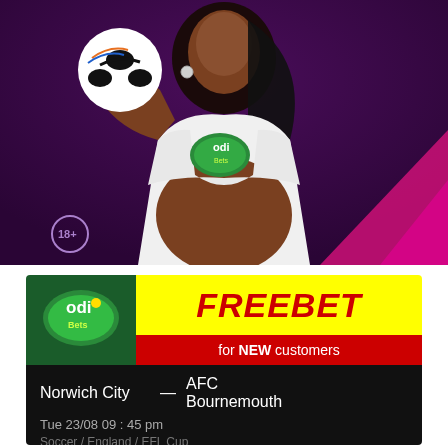[Figure (photo): A smiling pregnant woman holding a football with an Odi Bets logo on her white hoodie. Background is dark purple with pink/magenta accent. 18+ badge in bottom left.]
[Figure (infographic): Odi Bets promotional card: green logo area on left, yellow FREEBET banner in red italic text, red bar saying 'for NEW customers'. Below is a black match card showing Norwich City vs AFC Bournemouth, Tue 23/08 09:45 pm, Soccer / England / EFL Cup.]
FREEBET
for NEW customers
Norwich City — AFC Bournemouth
Tue 23/08 09 : 45 pm
Soccer / England / EFL Cup